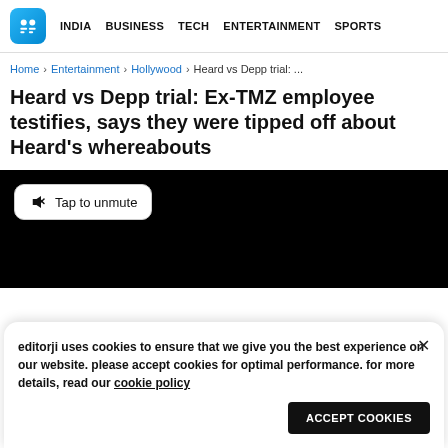INDIA  BUSINESS  TECH  ENTERTAINMENT  SPORTS
Home › Entertainment › Hollywood › Heard vs Depp trial: ...
Heard vs Depp trial: Ex-TMZ employee testifies, says they were tipped off about Heard's whereabouts
[Figure (screenshot): Black video player area with a white 'Tap to unmute' button in the top-left corner]
editorji uses cookies to ensure that we give you the best experience on our website. please accept cookies for optimal performance. for more details, read our cookie policy